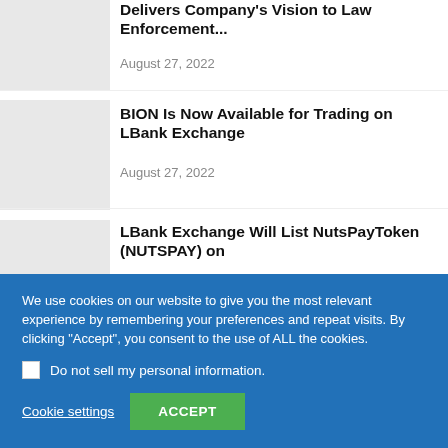Delivers Company’s Vision to Law Enforcement...
August 27, 2022
BION Is Now Available for Trading on LBank Exchange
August 27, 2022
LBank Exchange Will List NutsPayToken (NUTSPAY) on
We use cookies on our website to give you the most relevant experience by remembering your preferences and repeat visits. By clicking “Accept”, you consent to the use of ALL the cookies.
Do not sell my personal information.
Cookie settings
ACCEPT